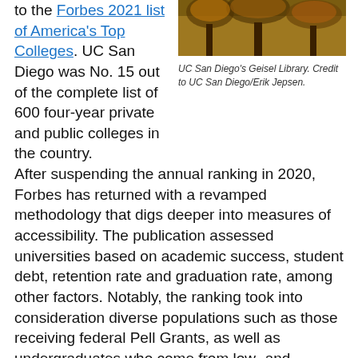to the Forbes 2021 list of America's Top Colleges. UC San Diego was No. 15 out of the complete list of 600 four-year private and public colleges in the country.
[Figure (photo): Photo of UC San Diego's Geisel Library with foliage]
UC San Diego's Geisel Library. Credit to UC San Diego/Erik Jepsen.
After suspending the annual ranking in 2020, Forbes has returned with a revamped methodology that digs deeper into measures of accessibility. The publication assessed universities based on academic success, student debt, retention rate and graduation rate, among other factors. Notably, the ranking took into consideration diverse populations such as those receiving federal Pell Grants, as well as undergraduates who come from low- and moderate-income backgrounds.
“At UC San Diego, each and every student has the opportunity, tools and support to pursue their academic passions and create lasting impact,” said Chancellor